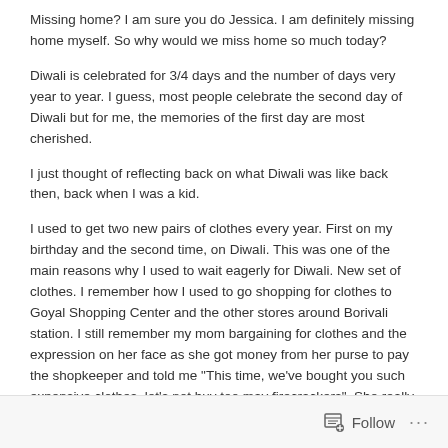Missing home? I am sure you do Jessica. I am definitely missing home myself. So why would we miss home so much today?
Diwali is celebrated for 3/4 days and the number of days very year to year. I guess, most people celebrate the second day of Diwali but for me, the memories of the first day are most cherished.
I just thought of reflecting back on what Diwali was like back then, back when I was a kid.
I used to get two new pairs of clothes every year. First on my birthday and the second time, on Diwali. This was one of the main reasons why I used to wait eagerly for Diwali. New set of clothes. I remember how I used to go shopping for clothes to Goyal Shopping Center and the other stores around Borivali station. I still remember my mom bargaining for clothes and the expression on her face as she got money from her purse to pay the shopkeeper and told me "This time, we've bought you such expensive clothes, let's not buy too may firecrackers". She really said that. I still remember the one time when, for a change, my dad took me clothes shopping and he actually bought me a Rs. 175 t-shirt. It was indeed the most expensive t-shirt I had ever bought and to top that my dad just said it was expensive and did not mention about cutting the expenses on firecrackers. I was so happy!! 🙂
Follow ...